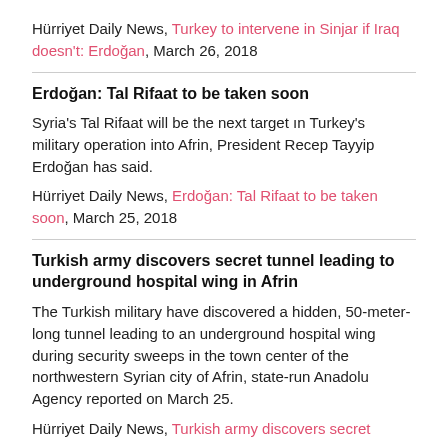Hürriyet Daily News, Turkey to intervene in Sinjar if Iraq doesn't: Erdoğan, March 26, 2018
Erdoğan: Tal Rifaat to be taken soon
Syria's Tal Rifaat will be the next target ın Turkey's military operation into Afrin, President Recep Tayyip Erdoğan has said.
Hürriyet Daily News, Erdoğan: Tal Rifaat to be taken soon, March 25, 2018
Turkish army discovers secret tunnel leading to underground hospital wing in Afrin
The Turkish military have discovered a hidden, 50-meter-long tunnel leading to an underground hospital wing during security sweeps in the town center of the northwestern Syrian city of Afrin, state-run Anadolu Agency reported on March 25.
Hürriyet Daily News, Turkish army discovers secret